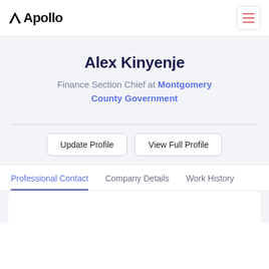Apollo
Alex Kinyenje
Finance Section Chief at Montgomery County Government
Update Profile | View Full Profile
Professional Contact  Company Details  Work History